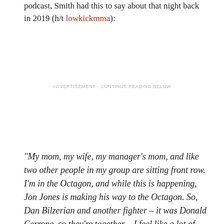podcast, Smith had this to say about that night back in 2019 (h/t lowkickmma):
ADVERTISEMENT - CONTINUE READING BELOW
“My mom, my wife, my manager’s mom, and like two other people in my group are sitting front row. I’m in the Octagon, and while this is happening, Jon Jones is making his way to the Octagon. So, Dan Bilzerian and another fighter – it was Donald Cerrone, so they’re together – I feel like a lot of